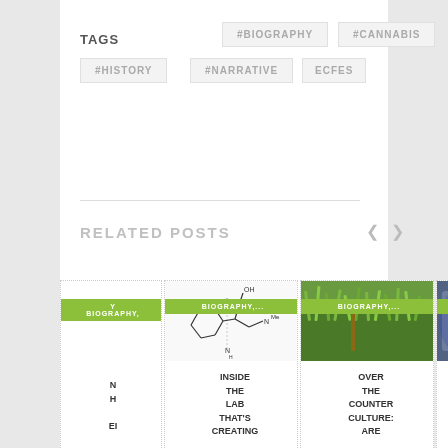TAGS
#BIOGRAPHY
#CANNABIS
#HISTORY
#NARRATIVE
ECFES
RELATED POSTS
[Figure (illustration): Chemical structure / molecule diagram (partial card cut off on left)]
BIOGRAPHY,
INSIDE THE LAB THAT'S CREATING
[Figure (photo): Green grass/plant photo for Over the Counter Culture article]
BIOGRAPHY,
OVER THE COUNTER CULTURE: ARE
[Figure (photo): Blurred blue/grey photo for Jackson County Oregon article]
BIOGRAPHY
JACKSON COUNTY, OREGON